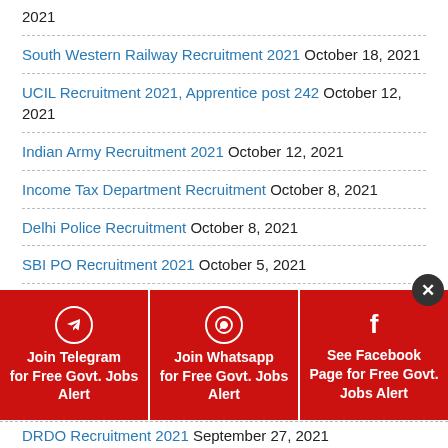2021
South Western Railway Recruitment 2021 October 18, 2021
UCIL Recruitment 2021, Apprentice post 242 October 12, 2021
Indian Army Recruitment 2021 October 12, 2021
Income Tax Department Recruitment October 8, 2021
Delhi Police Recruitment October 8, 2021
SBI PO Recruitment 2021 October 5, 2021
[Figure (infographic): Red banner with three social media join buttons: Join Telegram for Free Govt. Jobs Alert, Join Whatsapp for Free Govt. Jobs Alert, See Facebook Page for Free Govt. Jobs Alert, with a close (X) button]
DRDO Recruitment 2021 September 27, 2021